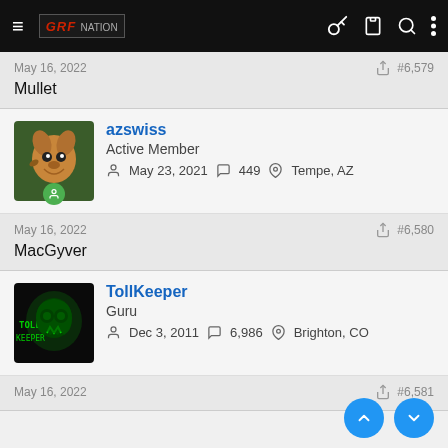GRF Nation forum navigation bar
May 16, 2022   #6,579
Mullet
azswiss — Active Member — May 23, 2021 — 449 — Tempe, AZ
May 16, 2022   #6,580
MacGyver
TollKeeper — Guru — Dec 3, 2011 — 6,986 — Brighton, CO
May 16, 2022   #6,581